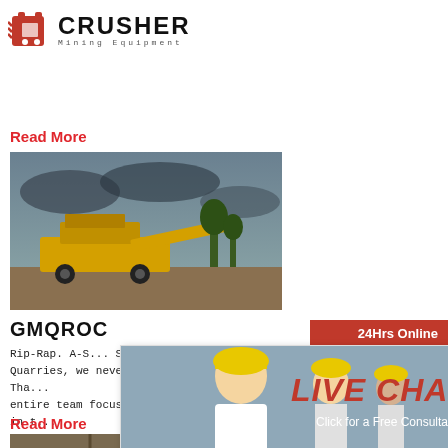[Figure (logo): Crusher Mining Equipment logo with red shopping bag icon and bold CRUSHER text]
Read More
[Figure (photo): Yellow mobile crusher machine on a construction/mining site with cloudy sky]
GMQROC
Rip-Rap. A-S... SAFETY IS O... Quarries, we never take safety for granted. Tha... entire team focuses on safety at each stage in t... READ MORE. SAFETY IS OUR TOP PRIORITY.
Read More
[Figure (photo): Industrial quarry/crushing equipment structure]
[Figure (infographic): Live chat popup overlay with people in hard hats, LIVE CHAT title in red italic, Chat now and Chat later buttons]
[Figure (photo): Customer service person with headset on right sidebar]
24Hrs Online
Need questions & suggestion?
Chat Now
Enquiry
limingjlmofen@sina.com